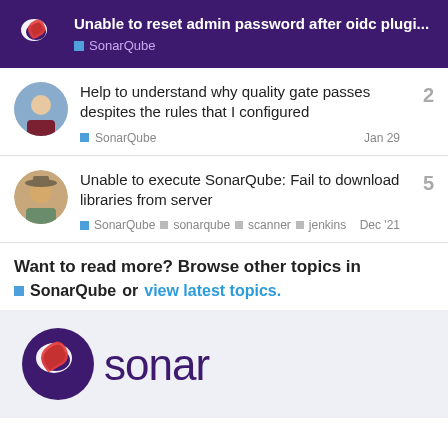Unable to reset admin password after oidc plugi... | SonarQube
Help to understand why quality gate passes despites the rules that I configured
SonarQube · Jan 29 · 2 replies
Unable to execute SonarQube: Fail to download libraries from server
SonarQube · sonarqube · scanner · jenkins · Dec '21 · 5 replies
Want to read more? Browse other topics in SonarQube or view latest topics.
[Figure (logo): Sonar logo with icon and wordmark 'sonar' in purple on light blue-grey background]